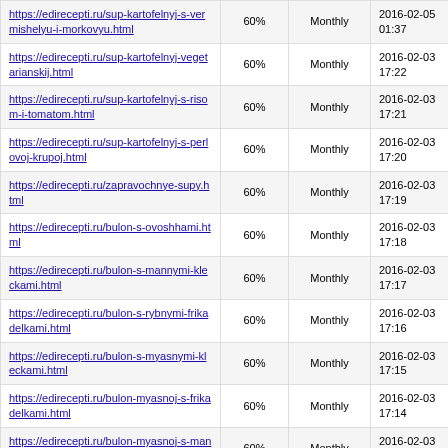| https://edirecepti.ru/sup-kartofelnyj-s-vermishelyu-i-morkovyu.html | 60% | Monthly | 2016-02-05 01:37 |
| https://edirecepti.ru/sup-kartofelnyj-vegetarianskij.html | 60% | Monthly | 2016-02-03 17:22 |
| https://edirecepti.ru/sup-kartofelnyj-s-risom-i-tomatom.html | 60% | Monthly | 2016-02-03 17:21 |
| https://edirecepti.ru/sup-kartofelnyj-s-perlovoj-krupoj.html | 60% | Monthly | 2016-02-03 17:20 |
| https://edirecepti.ru/zapravochnye-supy.html | 60% | Monthly | 2016-02-03 17:19 |
| https://edirecepti.ru/bulon-s-ovoshhami.html | 60% | Monthly | 2016-02-03 17:18 |
| https://edirecepti.ru/bulon-s-mannymi-kleckami.html | 60% | Monthly | 2016-02-03 17:17 |
| https://edirecepti.ru/bulon-s-rybnymi-frikadelkami.html | 60% | Monthly | 2016-02-03 17:16 |
| https://edirecepti.ru/bulon-s-myasnymi-kleckami.html | 60% | Monthly | 2016-02-03 17:15 |
| https://edirecepti.ru/bulon-myasnoj-s-frikadelkami.html | 60% | Monthly | 2016-02-03 17:14 |
| https://edirecepti.ru/bulon-myasnoj-s-mannoj-krupoj.html | 60% | Monthly | 2016-02-03 17:14 |
| https://edirecepti.ru/bulon-myasnoj-s-risom.html | 60% | Monthly | 2016-02-03 17:13 |
| https://edirecepti.ru/bulon-myasnoj-s- | 60% | Monthly | 2016-02-03 |